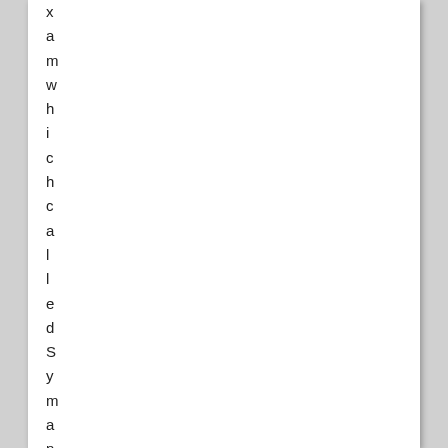x a m w h i c h c a l l e d S y m a n t e c B a c